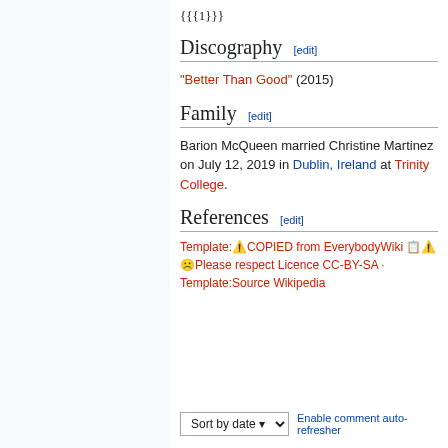{{{1}}}
Discography [edit]
"Better Than Good" (2015)
Family [edit]
Barion McQueen married Christine Martinez on July 12, 2019 in Dublin, Ireland at Trinity College.
References [edit]
Template:⚠️COPIED from EverybodyWiki 📋⚠️☹️Please respect Licence CC-BY-SA · Template:Source Wikipedia
Sort by date ▾  Enable comment auto-refresher